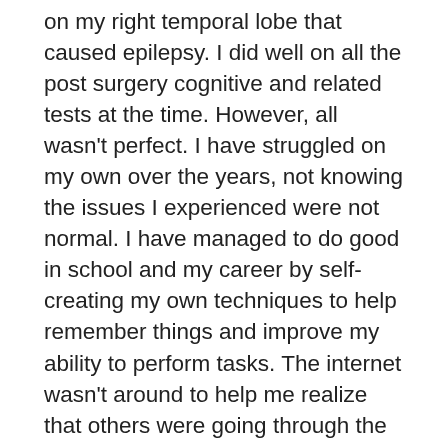on my right temporal lobe that caused epilepsy. I did well on all the post surgery cognitive and related tests at the time. However, all wasn't perfect. I have struggled on my own over the years, not knowing the issues I experienced were not normal. I have managed to do good in school and my career by self-creating my own techniques to help remember things and improve my ability to perform tasks. The internet wasn't around to help me realize that others were going through the same things. I just found this site today and am glad to learn more. My only issue I have been struggling with in recent years is that you feel you need to announce to everyone you work with that you had a brain injury/surgery, so you are not in the rumor mill for being slower than other employees and have other mild issues that normal people may think is odd. For me, I repeat things a lot, can process a little slower, and have some peripheral vision loss. I am looking